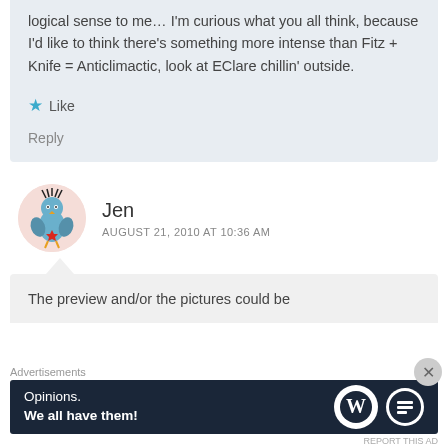of an intense picture of the episode. It makes no logical sense to me… I'm curious what you all think, because I'd like to think there's something more intense than Fitz + Knife = Anticlimactic, look at EClare chillin' outside.
Like
Reply
Jen
AUGUST 21, 2010 AT 10:36 AM
The preview and/or the pictures could be
[Figure (other): Avatar illustration of a cartoon bird character with pink background]
Advertisements
[Figure (other): WordPress advertisement banner: Opinions. We all have them! with WordPress logo and another circular logo on dark navy background]